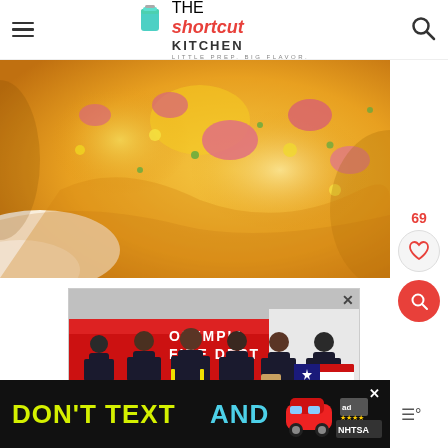The Shortcut Kitchen - Little Prep. Big Flavor.
[Figure (photo): Close-up photo of cheesy casserole dish with ham, corn, and green herbs, melted cheddar cheese on top]
[Figure (photo): Advertisement photo showing group of six firefighters in dark uniforms standing in front of Olympia Fire Dept truck]
[Figure (photo): Bottom banner advertisement showing text DON'T TEXT AND with car emoji, ad badge, and NHTSA logo on black background]